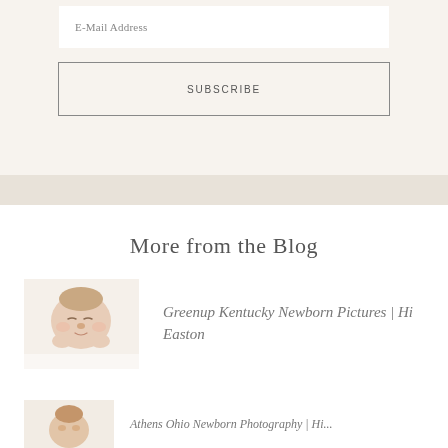E-Mail Address
SUBSCRIBE
More from the Blog
[Figure (photo): Newborn baby sleeping, Greenup Kentucky newborn photo]
Greenup Kentucky Newborn Pictures | Hi Easton
[Figure (photo): Partial thumbnail of another newborn/baby photo]
Athens Ohio Newborn Photography | Hi...